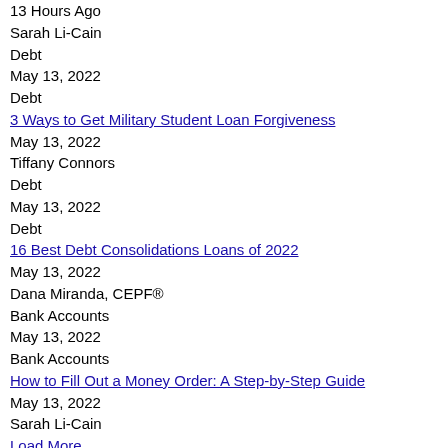13 Hours Ago
Sarah Li-Cain
Debt
May 13, 2022
Debt
3 Ways to Get Military Student Loan Forgiveness
May 13, 2022
Tiffany Connors
Debt
May 13, 2022
Debt
16 Best Debt Consolidations Loans of 2022
May 13, 2022
Dana Miranda, CEPF®
Bank Accounts
May 13, 2022
Bank Accounts
How to Fill Out a Money Order: A Step-by-Step Guide
May 13, 2022
Sarah Li-Cain
Load More
About Us